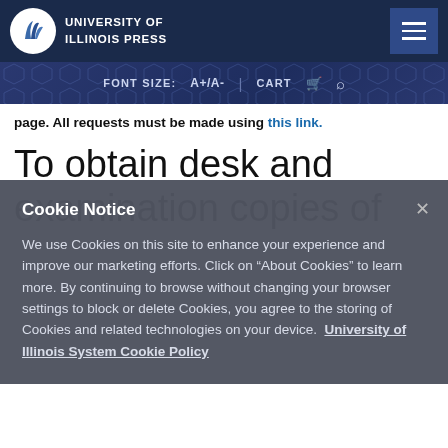UNIVERSITY OF ILLINOIS PRESS
FONT SIZE: A+/A- | CART
page. All requests must be made using this link.
To obtain desk and examination copies of
Cookie Notice
We use Cookies on this site to enhance your experience and improve our marketing efforts. Click on “About Cookies” to learn more. By continuing to browse without changing your browser settings to block or delete Cookies, you agree to the storing of Cookies and related technologies on your device. University of Illinois System Cookie Policy